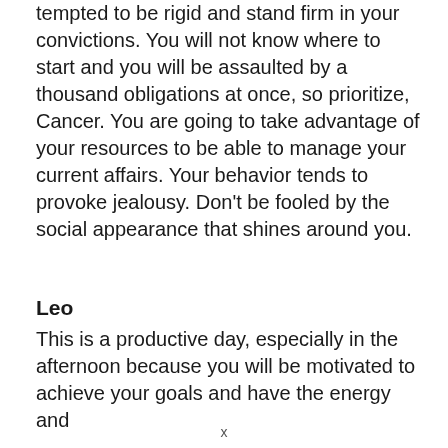tempted to be rigid and stand firm in your convictions. You will not know where to start and you will be assaulted by a thousand obligations at once, so prioritize, Cancer. You are going to take advantage of your resources to be able to manage your current affairs. Your behavior tends to provoke jealousy. Don't be fooled by the social appearance that shines around you.
Leo
This is a productive day, especially in the afternoon because you will be motivated to achieve your goals and have the energy and
x